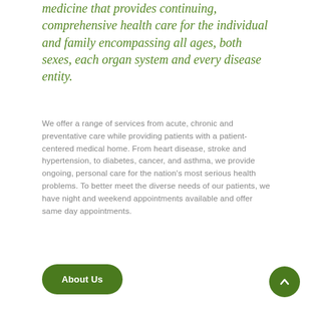medicine that provides continuing, comprehensive health care for the individual and family encompassing all ages, both sexes, each organ system and every disease entity.
We offer a range of services from acute, chronic and preventative care while providing patients with a patient-centered medical home. From heart disease, stroke and hypertension, to diabetes, cancer, and asthma, we provide ongoing, personal care for the nation's most serious health problems. To better meet the diverse needs of our patients, we have night and weekend appointments available and offer same day appointments.